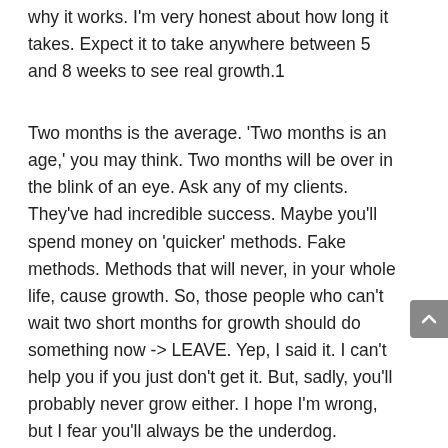why it works. I'm very honest about how long it takes. Expect it to take anywhere between 5 and 8 weeks to see real growth.1
Two months is the average. 'Two months is an age,' you may think. Two months will be over in the blink of an eye. Ask any of my clients. They've had incredible success. Maybe you'll spend money on 'quicker' methods. Fake methods. Methods that will never, in your whole life, cause growth. So, those people who can't wait two short months for growth should do something now -> LEAVE. Yep, I said it. I can't help you if you just don't get it. But, sadly, you'll probably never grow either. I hope I'm wrong, but I fear you'll always be the underdog.